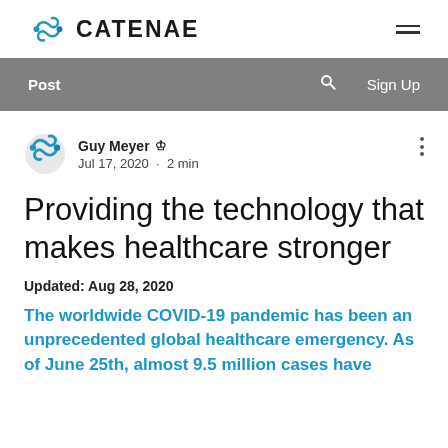[Figure (logo): Catenae logo with infinity-style loop icon and CATENAE text, plus hamburger menu icon on right]
Post  🔍  Sign Up
Guy Meyer 👑
Jul 17, 2020 · 2 min
Providing the technology that makes healthcare stronger
Updated: Aug 28, 2020
The worldwide COVID-19 pandemic has been an unprecedented global healthcare emergency. As of June 25th, almost 9.5 million cases have